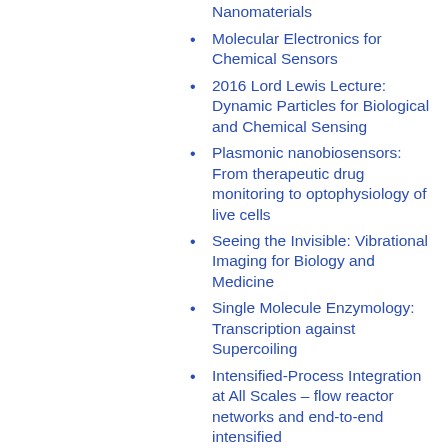Functional Polymeric Nanomaterials
Molecular Electronics for Chemical Sensors
2016 Lord Lewis Lecture: Dynamic Particles for Biological and Chemical Sensing
Plasmonic nanobiosensors: From therapeutic drug monitoring to optophysiology of live cells
Seeing the Invisible: Vibrational Imaging for Biology and Medicine
Single Molecule Enzymology: Transcription against Supercoiling
Intensified-Process Integration at All Scales – flow reactor networks and end-to-end intensified